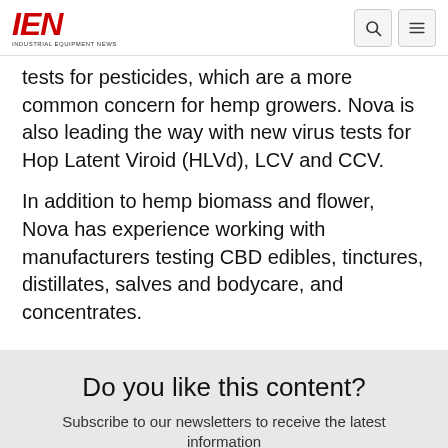IEN INDUSTRIAL EQUIPMENT NEWS
tests for pesticides, which are a more common concern for hemp growers. Nova is also leading the way with new virus tests for Hop Latent Viroid (HLVd), LCV and CCV.
In addition to hemp biomass and flower, Nova has experience working with manufacturers testing CBD edibles, tinctures, distillates, salves and bodycare, and concentrates.
Do you like this content?
Subscribe to our newsletters to receive the latest information